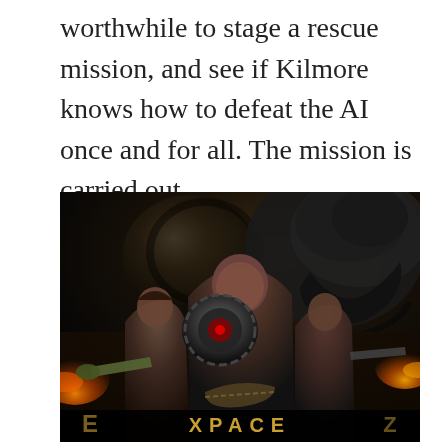worthwhile to stage a rescue mission, and see if Kilmore knows how to defeat the AI once and for all. The mission is carried out,
[Figure (photo): Movie poster showing three action figures (a woman on the left, a large man in the center, a man on the right) armed with weapons, with a large alien creature in the upper right background and a dark planet/moon in the upper left. Orange fire/explosion effects visible on both sides. Title text partially visible at the bottom.]